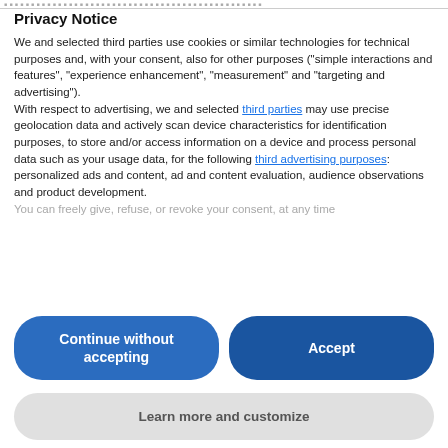...
Privacy Notice
We and selected third parties use cookies or similar technologies for technical purposes and, with your consent, also for other purposes ("simple interactions and features", "experience enhancement", "measurement" and "targeting and advertising").
With respect to advertising, we and selected third parties may use precise geolocation data and actively scan device characteristics for identification purposes, to store and/or access information on a device and process personal data such as your usage data, for the following third advertising purposes: personalized ads and content, ad and content evaluation, audience observations and product development.
You can freely give, refuse, or revoke your consent, at any time
Continue without accepting
Accept
Learn more and customize